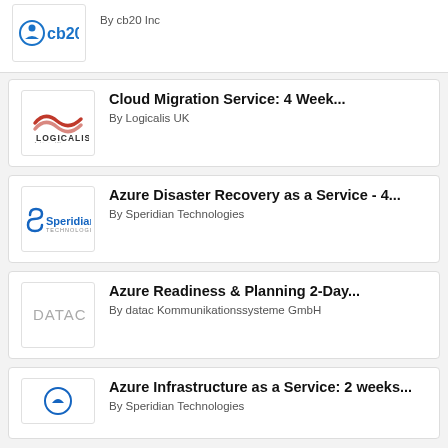[Figure (logo): cb20 Inc logo]
By cb20 Inc
[Figure (logo): Logicalis UK logo]
Cloud Migration Service: 4 Week...
By Logicalis UK
[Figure (logo): Speridian Technologies logo]
Azure Disaster Recovery as a Service - 4...
By Speridian Technologies
[Figure (logo): datac Kommunikationssysteme GmbH logo]
Azure Readiness & Planning 2-Day...
By datac Kommunikationssysteme GmbH
[Figure (logo): Speridian Technologies logo (partial)]
Azure Infrastructure as a Service: 2 weeks...
By Speridian Technologies